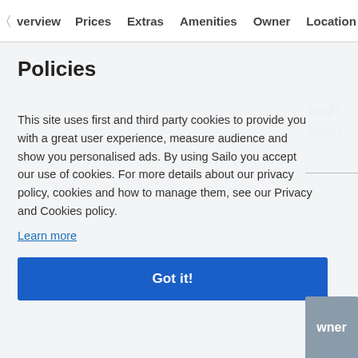Overview  Prices  Extras  Amenities  Owner  Location
Policies
This site uses first and third party cookies to provide you with a great user experience, measure audience and show you personalised ads. By using Sailo you accept our use of cookies. For more details about our privacy policy, cookies and how to manage them, see our Privacy and Cookies policy.
Learn more
Got it!